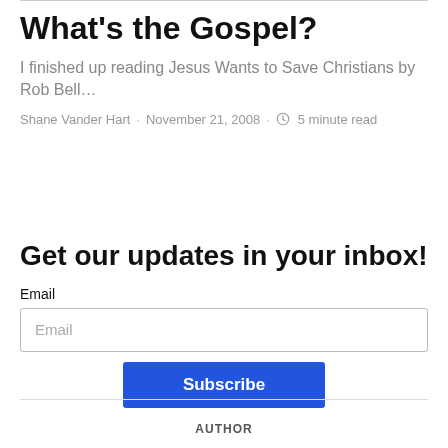What's the Gospel?
I finished up reading Jesus Wants to Save Christians by Rob Bell…
Shane Vander Hart · November 21, 2008 · 5 minute read
Get our updates in your inbox!
Email
Email
Subscribe
AUTHOR